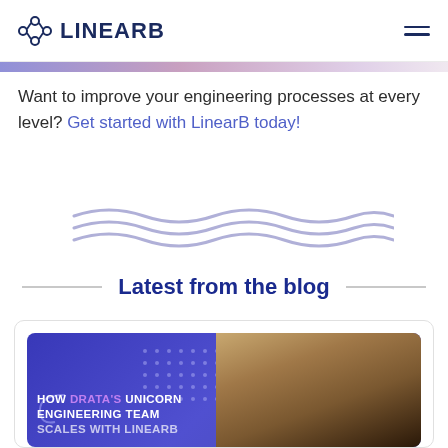LinearB
Want to improve your engineering processes at every level? Get started with LinearB today!
[Figure (illustration): Decorative wavy lines in light lavender/purple color]
Latest from the blog
[Figure (photo): Blog card thumbnail: blue background with text 'HOW DRATA'S UNICORN ENGINEERING TEAM SCALES WITH LINEARB' and a photo of a person on the right side]